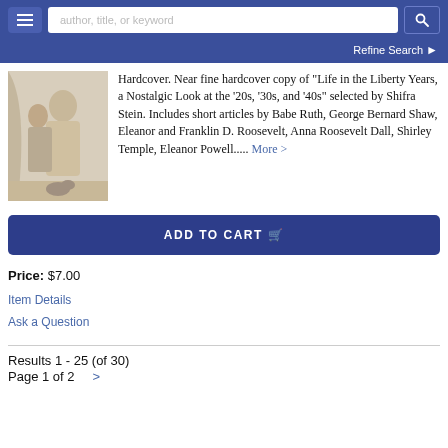[Figure (screenshot): Navigation bar with hamburger menu, search input, and search button on dark blue background]
Refine Search ❯
[Figure (illustration): Book cover image showing figures, vintage illustration style]
Hardcover. Near fine hardcover copy of "Life in the Liberty Years, a Nostalgic Look at the '20s, '30s, and '40s" selected by Shifra Stein. Includes short articles by Babe Ruth, George Bernard Shaw, Eleanor and Franklin D. Roosevelt, Anna Roosevelt Dall, Shirley Temple, Eleanor Powell..... More >
ADD TO CART 🛒
Price: $7.00
Item Details
Ask a Question
Results 1 - 25 (of 30)
Page 1 of 2   >